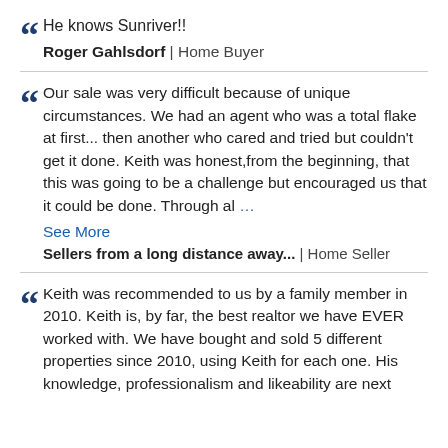He knows Sunriver!!
Roger Gahlsdorf | Home Buyer
Our sale was very difficult because of unique circumstances. We had an agent who was a total flake at first... then another who cared and tried but couldn't get it done. Keith was honest,from the beginning, that this was going to be a challenge but encouraged us that it could be done. Through al … See More
Sellers from a long distance away... | Home Seller
Keith was recommended to us by a family member in 2010. Keith is, by far, the best realtor we have EVER worked with. We have bought and sold 5 different properties since 2010, using Keith for each one. His knowledge, professionalism and likeability are next